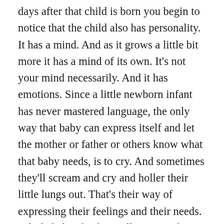days after that child is born you begin to notice that the child also has personality. It has a mind. And as it grows a little bit more it has a mind of its own. It's not your mind necessarily. And it has emotions. Since a little newborn infant has never mastered language, the only way that baby can express itself and let the mother or father or others know what that baby needs, is to cry. And sometimes they'll scream and cry and holler their little lungs out. That's their way of expressing their feelings and their needs. A little baby also has willpower and intellect. So that's what Jesus meant when he said that which is born of the flesh is flesh and that which is born of the Spirit is spirit. The mother and father beget the fleshly nature of that child and that includes the mind and the emotions. One thing that has always fascinated me is how the baby picks up characteristics from both sides of the